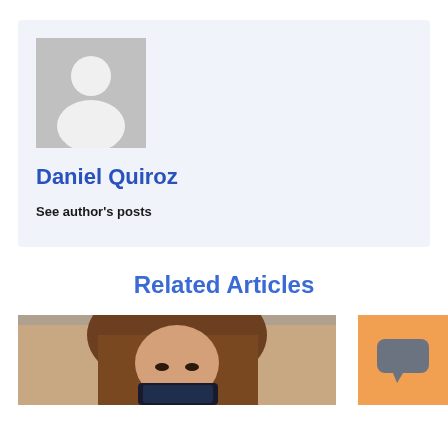[Figure (illustration): Default avatar placeholder: grey square with white silhouette of a person (head and shoulders)]
Daniel Quiroz
See author's posts
Related Articles
[Figure (photo): Photo of a young woman with long hair looking down at a smartphone, partially cropped]
[Figure (other): Orange chat widget button with a speech bubble icon]